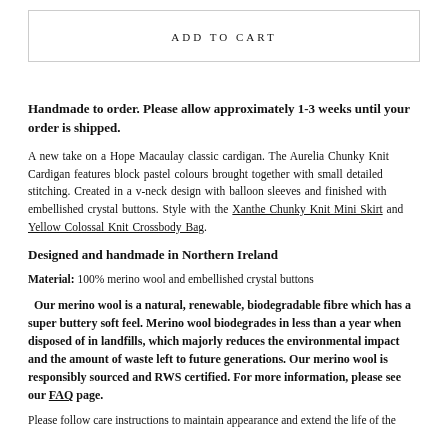[Figure (screenshot): Add to Cart button section with border]
ADD TO CART
Handmade to order. Please allow approximately 1-3 weeks until your order is shipped.
A new take on a Hope Macaulay classic cardigan. The Aurelia Chunky Knit Cardigan features block pastel colours brought together with small detailed stitching. Created in a v-neck design with balloon sleeves and finished with embellished crystal buttons. Style with the Xanthe Chunky Knit Mini Skirt and Yellow Colossal Knit Crossbody Bag.
Designed and handmade in Northern Ireland
Material: 100% merino wool and embellished crystal buttons
Our merino wool is a natural, renewable, biodegradable fibre which has a super buttery soft feel. Merino wool biodegrades in less than a year when disposed of in landfills, which majorly reduces the environmental impact and the amount of waste left to future generations. Our merino wool is responsibly sourced and RWS certified. For more information, please see our FAQ page.
Please follow care instructions to maintain appearance and extend the life of the